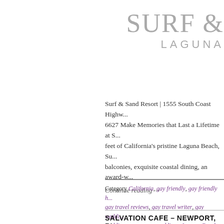SURF & LAGUNA
Surf & Sand Resort | 1555 South Coast Highw... 6627 Make Memories that Last a Lifetime at S... feet of California's pristine Laguna Beach, Su... balconies, exquisite coastal dining, an award-w...
Continue reading →
Category California, gay friendly, gay friendly h... gay travel reviews, gay travel writer, gay weddi... wedding venues, gay weddings, Laguna Beach -... gay wedding venues, California gay weddings, C... Beach, gay Laguna Beach, gay travel, gay trave... writer, Laguna Beach gay friendly hotels, Lagu... Beach gay hotels, Laguna Beach gay weddings,... Laguna Beach wedding venues, Surf and Sand R...
SALVATION CAFE – NEWPORT, RI